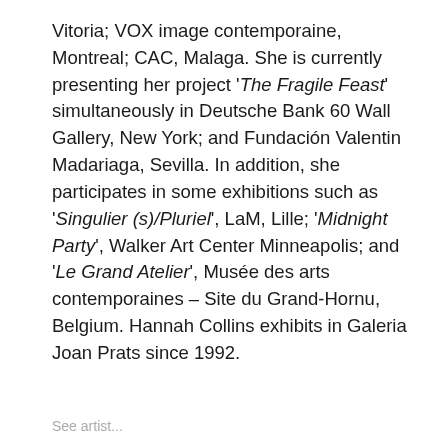Vitoria; VOX image contemporaine, Montreal; CAC, Malaga. She is currently presenting her project 'The Fragile Feast' simultaneously in Deutsche Bank 60 Wall Gallery, New York; and Fundación Valentin Madariaga, Sevilla. In addition, she participates in some exhibitions such as 'Singulier (s)/Pluriel', LaM, Lille; 'Midnight Party', Walker Art Center Minneapolis; and 'Le Grand Atelier', Musée des arts contemporaines – Site du Grand-Hornu, Belgium. Hannah Collins exhibits in Galeria Joan Prats since 1992.
See artist...